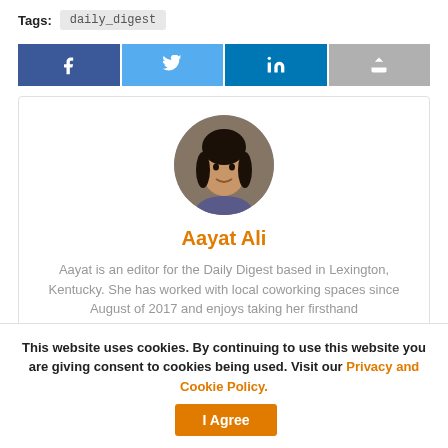Tags: daily_digest
[Figure (other): Social share buttons: Facebook, Twitter, LinkedIn, Share]
[Figure (photo): Circular profile photo of Aayat Ali, a young woman smiling]
Aayat Ali
Aayat is an editor for the Daily Digest based in Lexington, Kentucky. She has worked with local coworking spaces since August of 2017 and enjoys taking her firsthand
This website uses cookies. By continuing to use this website you are giving consent to cookies being used. Visit our Privacy and Cookie Policy.